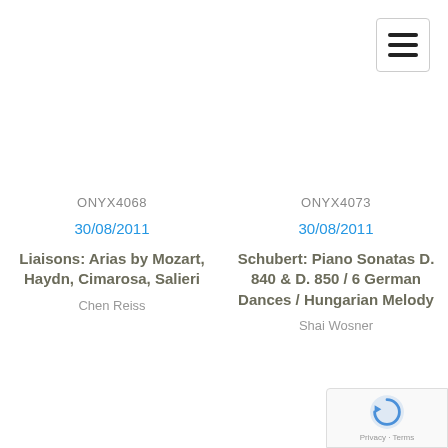[Figure (other): Hamburger menu icon, three horizontal black lines in a bordered box, top-right corner]
ONYX4068
30/08/2011
Liaisons: Arias by Mozart, Haydn, Cimarosa, Salieri
Chen Reiss
ONYX4073
30/08/2011
Schubert: Piano Sonatas D. 840 & D. 850 / 6 German Dances / Hungarian Melody
Shai Wosner
[Figure (logo): Google reCAPTCHA badge with refresh icon and 'Privacy - Terms' text, bottom-right corner]